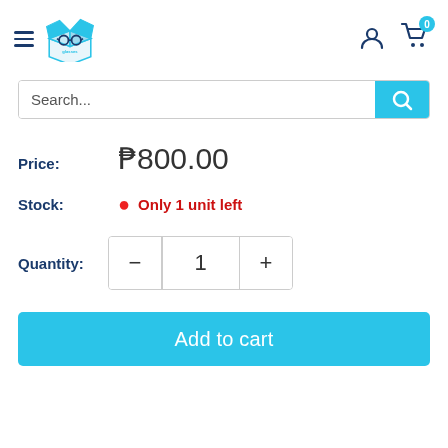[Figure (logo): E-commerce store logo: blue box with glasses icon]
Search...
Price: ₱800.00
Stock: Only 1 unit left
Quantity: 1
Add to cart